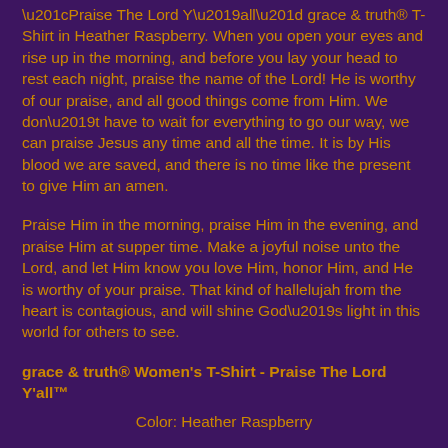“Praise The Lord Y’all” grace & truth® T-Shirt in Heather Raspberry. When you open your eyes and rise up in the morning, and before you lay your head to rest each night, praise the name of the Lord! He is worthy of our praise, and all good things come from Him. We don’t have to wait for everything to go our way, we can praise Jesus any time and all the time. It is by His blood we are saved, and there is no time like the present to give Him an amen.
Praise Him in the morning, praise Him in the evening, and praise Him at supper time. Make a joyful noise unto the Lord, and let Him know you love Him, honor Him, and He is worthy of your praise. That kind of hallelujah from the heart is contagious, and will shine God’s light in this world for others to see.
grace & truth® Women’s T-Shirt - Praise The Lord Y’all™
Color: Heather Raspberry